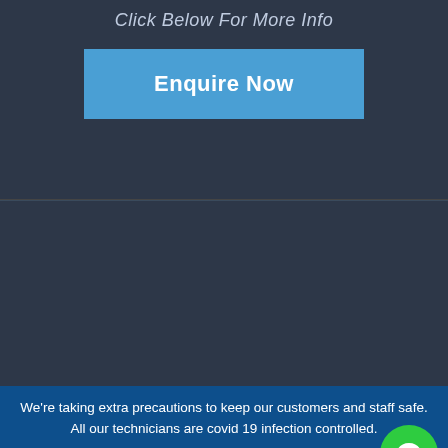Click Below For More Info
Enquire Now
[Figure (other): Dark background placeholder panel]
We’re taking extra precautions to keep our customers and staff safe. All our technicians are covid 19 infection controlled.
(08) 8366 2223 No Callout Fees
Book Online